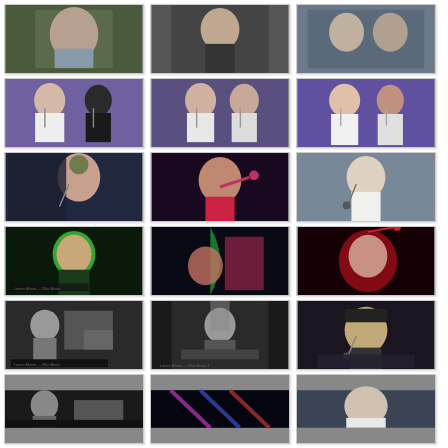[Figure (photo): Concert/performance photo grid showing singers and performers in various lighting conditions. Row 1 (partial, top): three photos of performers. Row 2: Two female singers in white dresses with microphones under purple/blue stage light, multiple shots. Row 3: Female singer with flower crown, performer in red light extending arm, female singer with microphone outdoors. Row 4: Male performer under green light, performer with green/pink lighting, female performer under red light with arm raised. Row 5: Black and white band/performance shots, male at piano, person with hat and microphone. Row 6: Partial row with black and white band photo, colorful light streaks, female performer close-up.]